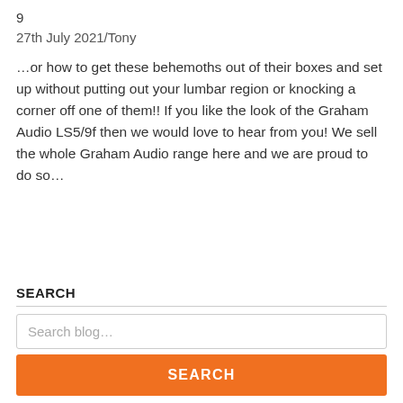9
27th July 2021/Tony
…or how to get these behemoths out of their boxes and set up without putting out your lumbar region or knocking a corner off one of them!! If you like the look of the Graham Audio LS5/9f then we would love to hear from you! We sell the whole Graham Audio range here and we are proud to do so…
SEARCH
Search blog...
SEARCH